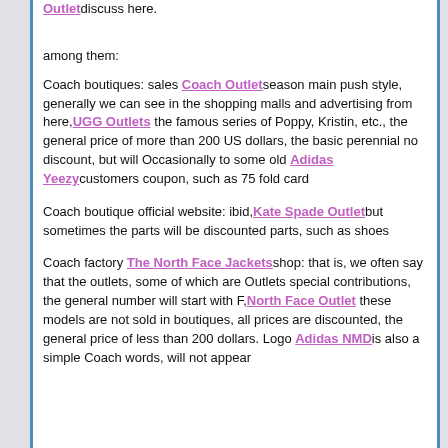Outletdiscuss here.
among them:
Coach boutiques: sales Coach Outletseason main push style, generally we can see in the shopping malls and advertising from here,UGG Outlets the famous series of Poppy, Kristin, etc., the general price of more than 200 US dollars, the basic perennial no discount, but will Occasionally to some old Adidas Yeezycustomers coupon, such as 75 fold card
Coach boutique official website: ibid,Kate Spade Outletbut sometimes the parts will be discounted parts, such as shoes
Coach factory The North Face Jacketsshop: that is, we often say that the outlets, some of which are Outlets special contributions, the general number will start with F,North Face Outlet these models are not sold in boutiques, all prices are discounted, the general price of less than 200 dollars. Logo Adidas NMDis also a simple Coach words, will not appear